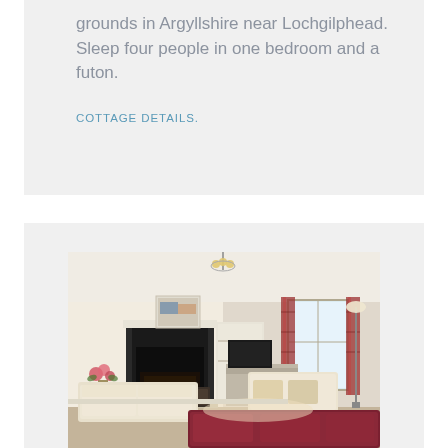grounds in Argyllshire near Lochgilphead. Sleep four people in one bedroom and a futon.
COTTAGE DETAILS.
[Figure (photo): Interior photo of a cottage living room with cream sofas, a dark marble fireplace, a TV unit, tartan curtains on large windows, a chandelier-style ceiling light, flowers in a vase, and a red/burgundy sofa in the foreground.]